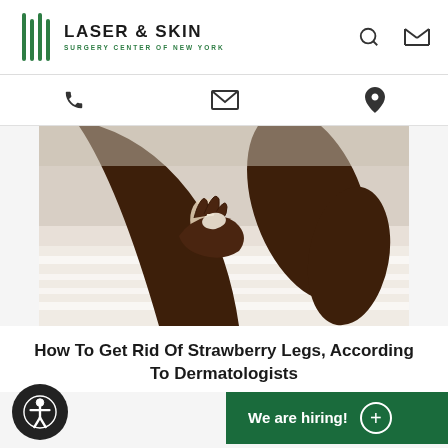[Figure (logo): Laser & Skin Surgery Center of New York logo with green striped icon and company name]
[Figure (photo): Close-up photo of a dark-skinned person applying lotion or cream to their legs, resting on white fabric/towel]
How To Get Rid Of Strawberry Legs, According To Dermatologists
We are hiring!